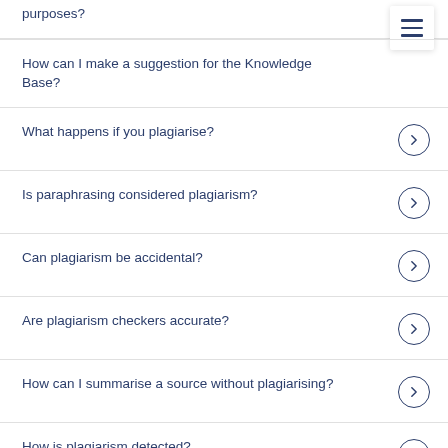purposes?
How can I make a suggestion for the Knowledge Base?
What happens if you plagiarise?
Is paraphrasing considered plagiarism?
Can plagiarism be accidental?
Are plagiarism checkers accurate?
How can I summarise a source without plagiarising?
How is plagiarism detected?
What are some examples of plagiarism?